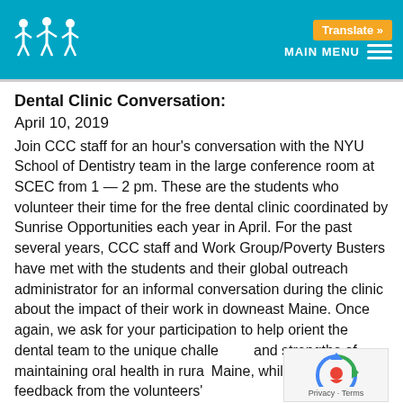CCC Logo | MAIN MENU | Translate »
Dental Clinic Conversation:
April 10, 2019
Join CCC staff for an hour's conversation with the NYU School of Dentistry team in the large conference room at SCEC from 1 — 2 pm.  These are the students who volunteer their time for the free dental clinic coordinated by Sunrise Opportunities each year in April.  For the past several years, CCC staff and Work Group/Poverty Busters have met with the students and their global outreach administrator for an informal conversation during the clinic about the impact of their work in downeast Maine.  Once again, we ask for your participation to help orient the dental team to the unique challenges and strengths of maintaining oral health in rural Maine, while receiving feedback from the volunteers'